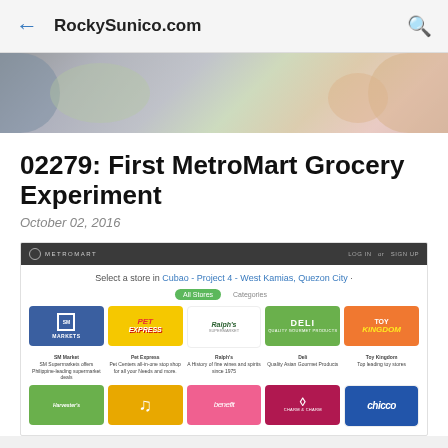RockySunico.com
02279: First MetroMart Grocery Experiment
October 02, 2016
[Figure (screenshot): MetroMart website screenshot showing store selection page with store tiles: SM Markets, Pet Express, Ralph's Supermarket, Deli, Toy Kingdom (top row) and Harvesters, unnamed music store, benefit, Charm & Charm, Chicco (bottom row). Header reads 'Select a store in Cubao - Project 4 - West Kamias, Quezon City']